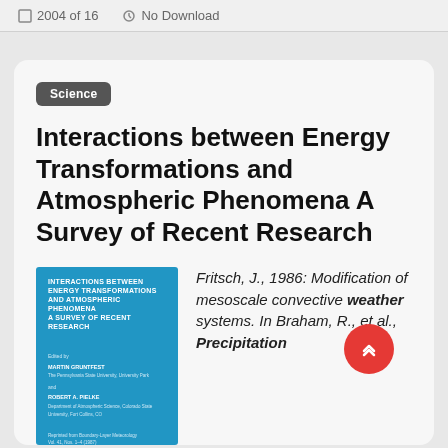2004 of 16 · No Download
Science
Interactions between Energy Transformations and Atmospheric Phenomena A Survey of Recent Research
[Figure (photo): Blue book cover with white text: INTERACTIONS BETWEEN ENERGY TRANSFORMATIONS AND ATMOSPHERIC PHENOMENA A SURVEY OF RECENT RESEARCH]
Fritsch, J., 1986: Modification of mesoscale convective weather systems. In Braham, R., et al., Precipitation